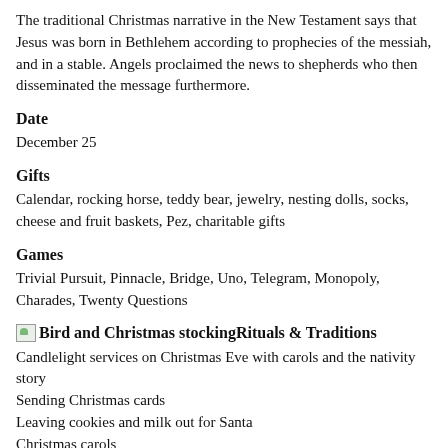The traditional Christmas narrative in the New Testament says that Jesus was born in Bethlehem according to prophecies of the messiah, and in a stable. Angels proclaimed the news to shepherds who then disseminated the message furthermore.
Date
December 25
Gifts
Calendar, rocking horse, teddy bear, jewelry, nesting dolls, socks, cheese and fruit baskets, Pez, charitable gifts
Games
Trivial Pursuit, Pinnacle, Bridge, Uno, Telegram, Monopoly, Charades, Twenty Questions
Bird and Christmas stockingRituals & Traditions
Candlelight services on Christmas Eve with carols and the nativity story
Sending Christmas cards
Leaving cookies and milk out for Santa
Christmas carols
Letters to Santa
Advent calendar
Watching movies like A Christmas Story, It's a Wonderful Life